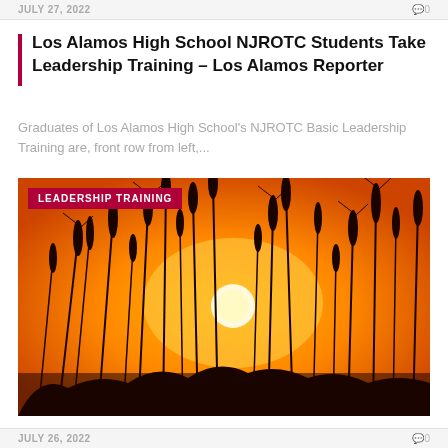JULY 27, 2022   ⌂0
Los Alamos High School NJROTC Students Take Leadership Training – Los Alamos Reporter
Graduates of Los Alamos High School's NJROTC Basic Leadership Training are, front row from left,...
[Figure (photo): Silhouette of wheat stalks against a warm orange sunset background with a bright white sun visible through the stalks. Overlaid label reads 'LEADERSHIP TRAINING' in white text on a dark red/crimson background.]
JULY 26, 2022   ⌂0